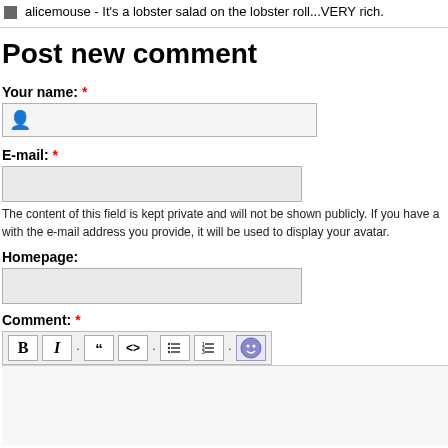alicemouse - It's a lobster salad on the lobster roll...VERY rich.
Post new comment
Your name: *
E-mail: *
The content of this field is kept private and will not be shown publicly. If you have a with the e-mail address you provide, it will be used to display your avatar.
Homepage:
Comment: *
[Figure (screenshot): Rich text editor toolbar with Bold (B), Italic (I), quote, code, ordered list, unordered list, and smiley face buttons]